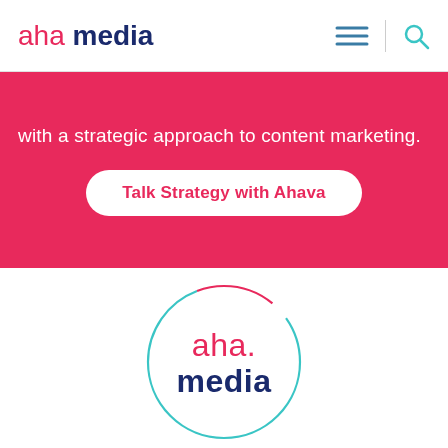aha media
with a strategic approach to content marketing.
Talk Strategy with Ahava
[Figure (logo): aha.media circular logo with teal and pink circle border, 'aha.' in pink and 'media' in navy blue text]
Award-winning Content with Proven Results